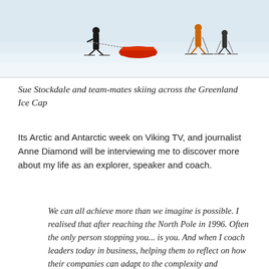[Figure (photo): Photo of Sue Stockdale and team-mates skiing across the Greenland Ice Cap, snowy white landscape, figures pulling sleds with ski poles]
Sue Stockdale and team-mates skiing across the Greenland Ice Cap
Its Arctic and Antarctic week on Viking TV, and journalist Anne Diamond will be interviewing me to discover more about my life as an explorer, speaker and coach.
We can all achieve more than we imagine is possible. I realised that after reaching the North Pole in 1996. Often the only person stopping you... is you. And when I coach leaders today in business, helping them to reflect on how their companies can adapt to the complexity and uncertainty of today's